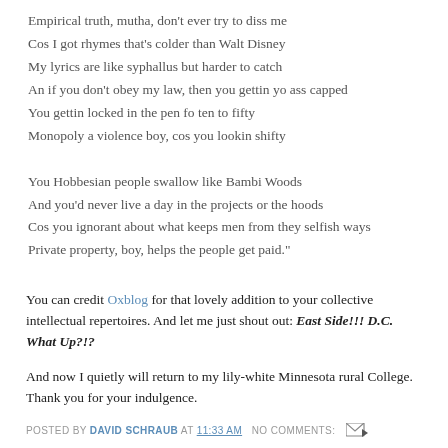Empirical truth, mutha, don't ever try to diss me
Cos I got rhymes that's colder than Walt Disney
My lyrics are like syphallus but harder to catch
An if you don't obey my law, then you gettin yo ass capped
You gettin locked in the pen fo ten to fifty
Monopoly a violence boy, cos you lookin shifty

You Hobbesian people swallow like Bambi Woods
And you'd never live a day in the projects or the hoods
Cos you ignorant about what keeps men from they selfish ways
Private property, boy, helps the people get paid."
You can credit Oxblog for that lovely addition to your collective intellectual repertoires. And let me just shout out: East Side!!! D.C. What Up?!?
And now I quietly will return to my lily-white Minnesota rural College. Thank you for your indulgence.
POSTED BY DAVID SCHRAUB AT 11:33 AM   NO COMMENTS:
Proof of Syrian Terror, Part 2